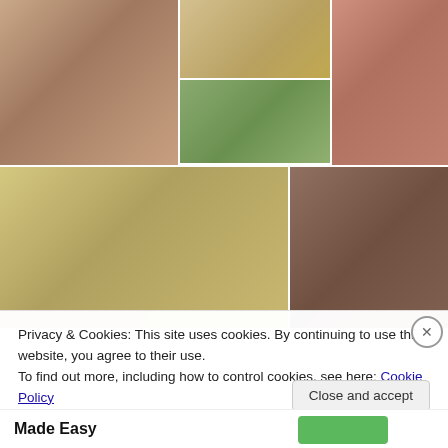[Figure (photo): Collage of 6 food photos: top-left shows a girl with a tiered pastry stand, top-center shows fried/breaded balls on a plate, top-right shows a hand holding a box of macarons stacked vertically, middle-center shows eggs benedict with greens salad, bottom-left shows a dim sum spread with tea cups and bamboo steamers on a white table, bottom-right shows a girl sitting at a cafe table]
Privacy & Cookies: This site uses cookies. By continuing to use this website, you agree to their use.
To find out more, including how to control cookies, see here: Cookie Policy
Close and accept
Made Easy